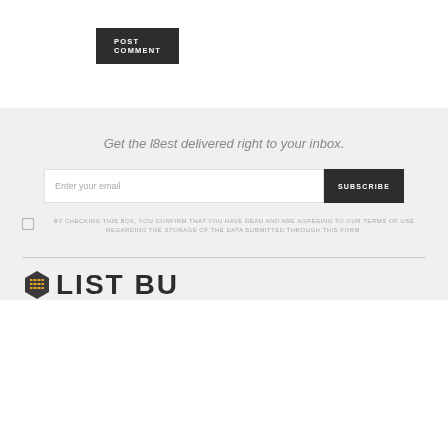[Figure (other): POST COMMENT button — dark background with white uppercase text]
Get the l8est delivered right to your inbox.
[Figure (other): Email subscription form with text input 'Enter your email' and SUBSCRIBE button]
BY CHECKING THIS BOX, YOU CONFIRM THAT YOU HAVE READ AND ARE AGREEING TO OUR TERMS OF USE REGARDING THE STORAGE OF THE DATA SUBMITTED THROUGH THIS FORM.
[Figure (logo): List Builder logo — hexagon icon with grid lines followed by partial text 'LIST BU']